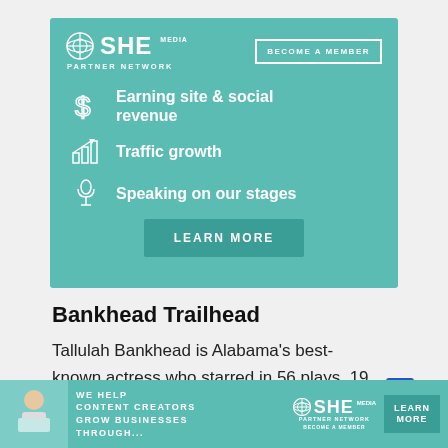[Figure (infographic): SHE Media Partner Network advertisement banner with teal background. Shows SHE MEDIA PARTNER NETWORK logo, BECOME A MEMBER button, three feature items with icons: 'Earning site & social revenue' (dollar sign icon), 'Traffic growth' (bar chart icon), 'Speaking on our stages' (microphone icon), and a LEARN MORE button.]
Bankhead Trailhead
Tallulah Bankhead is Alabama's best-known actress who starred in 56 plays, 19 movies, and scores of radio and television productions during her 50-ye...
[Figure (infographic): Bottom banner ad for SHE Media Partner Network with teal background. Shows a woman with laptop on left, text 'WE HELP CONTENT CREATORS GROW BUSINESSES THROUGH...', SHE Media Partner Network logo, and LEARN MORE button.]